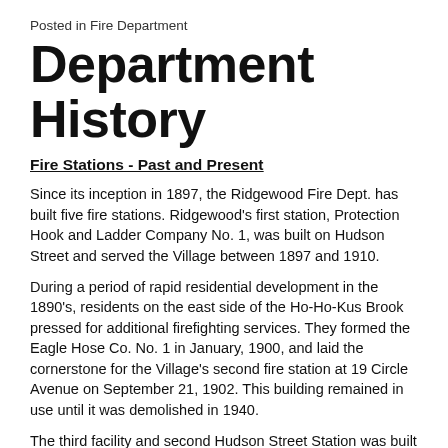Posted in Fire Department
Department History
Fire Stations - Past and Present
Since its inception in 1897, the Ridgewood Fire Dept. has built five fire stations. Ridgewood's first station, Protection Hook and Ladder Company No. 1, was built on Hudson Street and served the Village between 1897 and 1910.
During a period of rapid residential development in the 1890's, residents on the east side of the Ho-Ho-Kus Brook pressed for additional firefighting services. They formed the Eagle Hose Co. No. 1 in January, 1900, and laid the cornerstone for the Village's second fire station at 19 Circle Avenue on September 21, 1902. This building remained in use until it was demolished in 1940.
The third facility and second Hudson Street Station was built as a municipal complex, housing both the fire and police departments and the municipal and district court. The building was completed in 1911 and remained in service as Fire Headquarters until July 30, 1993. It was razed three months later.